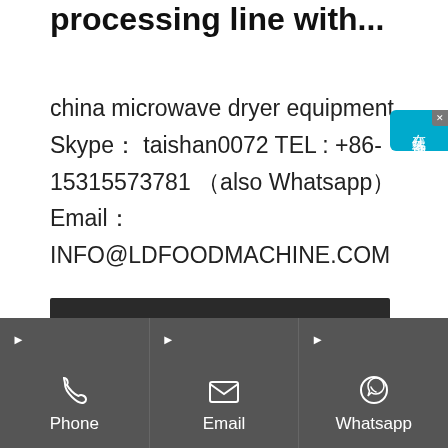processing line with...
china microwave dryer equipment. Skype： taishan0072 TEL : +86-15315573781 （also Whatsapp） Email：INFO@LDFOODMACHINE.COM
Get Price
[Figure (other): Dark image strip at bottom of main content area]
Phone  Email  Whatsapp